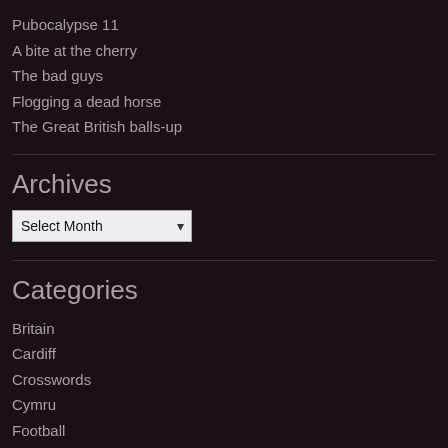Pubocalypse 11
A bite at the cherry
The bad guys
Flogging a dead horse
The Great British balls-up
Archives
Select Month
Categories
Britain
Cardiff
Crosswords
Cymru
Football
Life